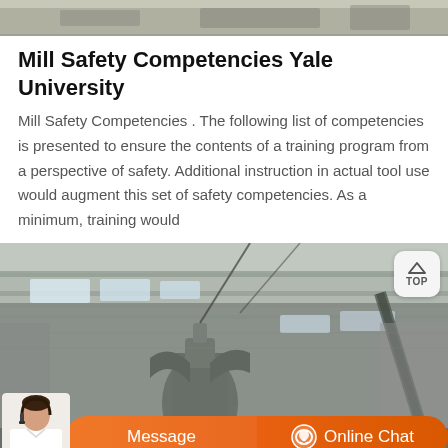[Figure (photo): Top partial image of an industrial/workshop scene, cropped, showing machinery or equipment at the top of the page.]
Mill Safety Competencies Yale University
Mill Safety Competencies . The following list of competencies is presented to ensure the contents of a training program from a perspective of safety. Additional instruction in actual tool use would augment this set of safety competencies. As a minimum, training would
[Figure (photo): Photograph of an industrial mill/factory interior showing ceiling beams, skylights, and milling machinery in the foreground. A 'TOP' navigation button appears in upper right corner. A chat bar with Message and Online Chat buttons overlays the bottom of the image, with a customer service representative photo on the left.]